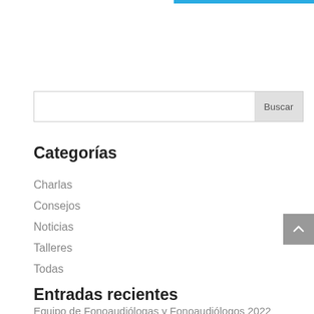[Figure (other): Blue top bar decoration in upper right corner of the page]
[Figure (other): Search input field with Buscar (Search) button]
Categorías
Charlas
Consejos
Noticias
Talleres
Todas
Entradas recientes
Equipo de Fonoaudiólogas y Fonoaudiólogos 2022